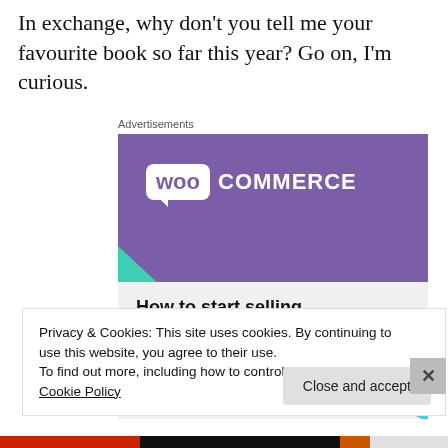In exchange, why don't you tell me your favourite book so far this year? Go on, I'm curious.
[Figure (screenshot): WooCommerce advertisement banner. Purple background with WooCommerce logo at top. Green triangle shape on left. Teal arc on right. Text reads 'How to start selling subscriptions online' with a purple call-to-action button partially visible.]
Privacy & Cookies: This site uses cookies. By continuing to use this website, you agree to their use.
To find out more, including how to control cookies, see here: Cookie Policy